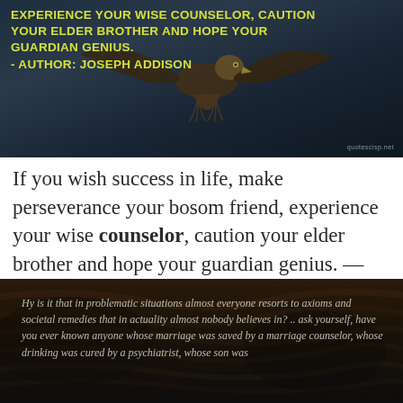[Figure (photo): Dark background photo of an eagle with wings spread, with yellow text overlay of a Joseph Addison quote about perseverance, and a watermark 'quotescisp.net' in the bottom right corner.]
If you wish success in life, make perseverance your bosom friend, experience your wise counselor, caution your elder brother and hope your guardian genius. — Joseph Addison
[Figure (photo): Dark close-up photo of a cat or animal fur, with a text overlay beginning: 'Hy is it that in problematic situations almost everyone resorts to axioms and societal remedies that in actuality almost nobody believes in? .. ask yourself, have you ever known anyone whose marriage was saved by a marriage counselor, whose drinking was cured by a psychiatrist, whose son was...']